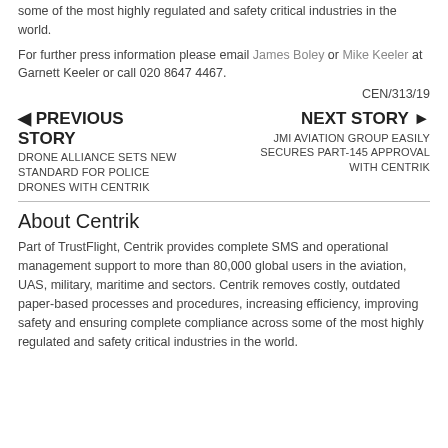some of the most highly regulated and safety critical industries in the world.
For further press information please email James Boley or Mike Keeler at Garnett Keeler or call 020 8647 4467.
CEN/313/19
◄ PREVIOUS STORY
DRONE ALLIANCE SETS NEW STANDARD FOR POLICE DRONES WITH CENTRIK
NEXT STORY ► JMI AVIATION GROUP EASILY SECURES PART-145 APPROVAL WITH CENTRIK
About Centrik
Part of TrustFlight, Centrik provides complete SMS and operational management support to more than 80,000 global users in the aviation, UAS, military, maritime and sectors. Centrik removes costly, outdated paper-based processes and procedures, increasing efficiency, improving safety and ensuring complete compliance across some of the most highly regulated and safety critical industries in the world.